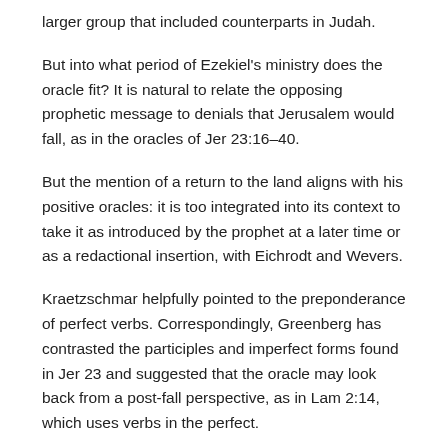larger group that included counterparts in Judah.
But into what period of Ezekiel's ministry does the oracle fit? It is natural to relate the opposing prophetic message to denials that Jerusalem would fall, as in the oracles of Jer 23:16–40.
But the mention of a return to the land aligns with his positive oracles: it is too integrated into its context to take it as introduced by the prophet at a later time or as a redactional insertion, with Eichrodt and Wevers.
Kraetzschmar helpfully pointed to the preponderance of perfect verbs. Correspondingly, Greenberg has contrasted the participles and imperfect forms found in Jer 23 and suggested that the oracle may look back from a post-fall perspective, as in Lam 2:14, which uses verbs in the perfect.
There are significant links between vv 3–9 and the oracle in 34:2–